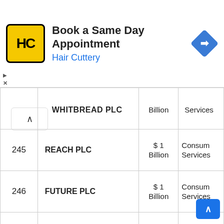[Figure (other): Hair Cuttery advertisement banner: logo (HC in yellow circle), text 'Book a Same Day Appointment / Hair Cuttery', navigation arrow icon]
| # | Company | Market Cap | Sector |
| --- | --- | --- | --- |
|  | WHITBREAD PLC | $ 1 Billion | Services |
| 245 | REACH PLC | $ 1 Billion | Consumer Services |
| 246 | FUTURE PLC | $ 1 Billion | Consumer Services |
| 247 | BODYCOTE PLC | $ 1 Billion | Industrial Services |
| 248 | METRO BANK PLC | $ 1 Billion | Finance |